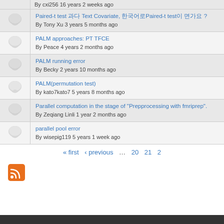Paired-t test 와 Text Covariate, 한국어로Paired-t test이 뭔가요 ?
By Tony Xu 3 years 5 months ago
PALM approaches: PT TFCE
By Peace 4 years 2 months ago
PALM running error
By Becky 2 years 10 months ago
PALM(permutation test)
By kato7kato7 5 years 8 months ago
Parallel computation in the stage of "Prepprocessing with fmriprep".
By Zeqiang Linli 1 year 2 months ago
parallel pool error
By wisepig119 5 years 1 week ago
« first ‹ previous … 20 21 2
[Figure (other): RSS feed icon (orange square with white radio wave symbol)]